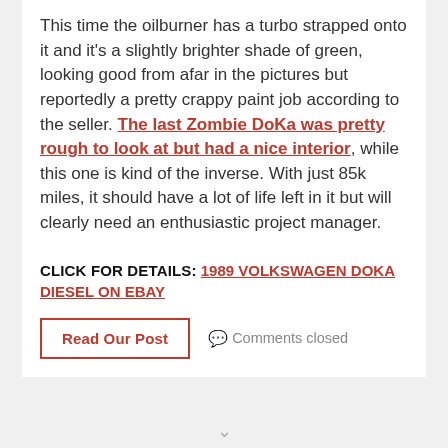This time the oilburner has a turbo strapped onto it and it's a slightly brighter shade of green, looking good from afar in the pictures but reportedly a pretty crappy paint job according to the seller. The last Zombie DoKa was pretty rough to look at but had a nice interior, while this one is kind of the inverse. With just 85k miles, it should have a lot of life left in it but will clearly need an enthusiastic project manager.
CLICK FOR DETAILS: 1989 VOLKSWAGEN DOKA DIESEL ON EBAY
Read Our Post   Comments closed